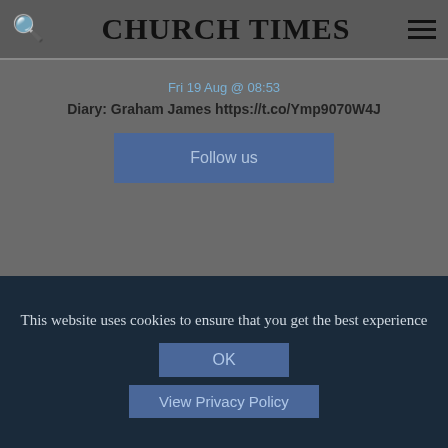CHURCH TIMES
Fri 19 Aug @ 08:53
Diary: Graham James https://t.co/Ymp9070W4J
Follow us
jobs.CHURCHTIMES
This website uses cookies to ensure that you get the best experience
OK
View Privacy Policy